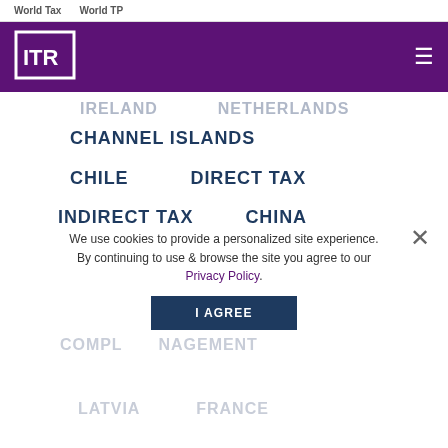World Tax   World TP
[Figure (logo): ITR logo white on purple background, square bracket style]
IRELAND   NETHERLANDS
CHANNEL ISLANDS
CHILE   DIRECT TAX
INDIRECT TAX   CHINA
TAX DISPUTES
COLOMBIA
COMPLIANCE   MANAGEMENT
LATVIA   FRANCE
We use cookies to provide a personalized site experience. By continuing to use & browse the site you agree to our Privacy Policy.
I AGREE